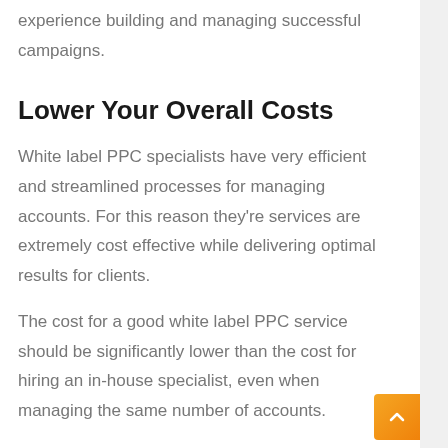experience building and managing successful campaigns.
Lower Your Overall Costs
White label PPC specialists have very efficient and streamlined processes for managing accounts. For this reason they're services are extremely cost effective while delivering optimal results for clients.
The cost for a good white label PPC service should be significantly lower than the cost for hiring an in-house specialist, even when managing the same number of accounts.